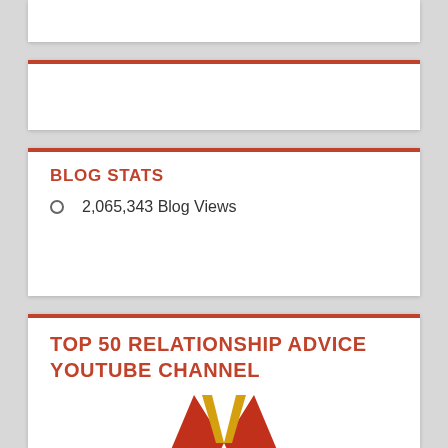BLOG STATS
2,065,343 Blog Views
TOP 50 RELATIONSHIP ADVICE YOUTUBE CHANNEL
[Figure (photo): Gold award medal with red and gold ribbon hanging from top, partially visible at bottom of page]